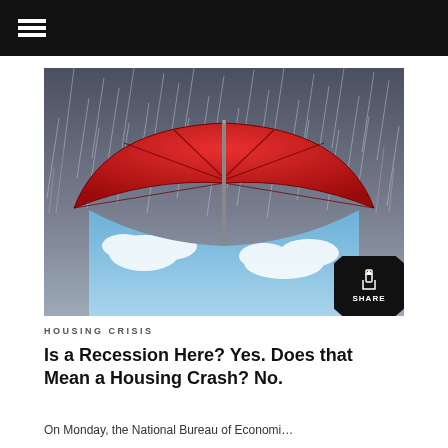[Figure (photo): A red umbrella photographed from below against a stormy grey sky with rain, with blue sky and clouds visible beneath the umbrella canopy. A share button overlay appears in the bottom-right corner of the image.]
HOUSING CRISIS
Is a Recession Here? Yes. Does that Mean a Housing Crash? No.
On Monday, the National Bureau of Economi…